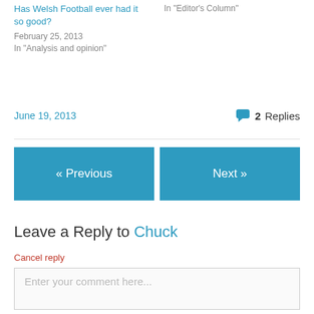Has Welsh Football ever had it so good?
February 25, 2013
In "Analysis and opinion"
June 19, 2013
2 Replies
« Previous
Next »
Leave a Reply to Chuck
Cancel reply
Enter your comment here...